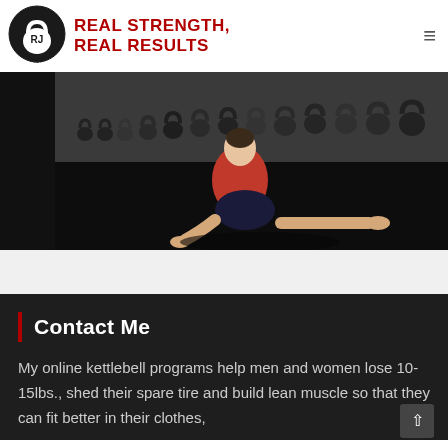[Figure (logo): RJ Kettlebell logo — black kettlebell icon with 'RJ' text and 'KETTLEBELL' around the base in a circular badge]
REAL STRENGTH, REAL RESULTS
[Figure (photo): Person in red shirt and dark shorts performing a seated floor stretch exercise on a black gym mat, with rows of kettlebells along the wall in the background]
Contact Me
My online kettlebell programs help men and women lose 10-15lbs., shed their spare tire and build lean muscle so that they can fit better in their clothes,